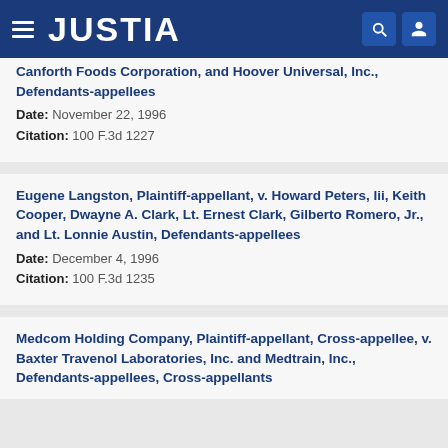JUSTIA
Canforth Foods Corporation, and Hoover Universal, Inc., Defendants-appellees — Date: November 22, 1996 — Citation: 100 F.3d 1227
Eugene Langston, Plaintiff-appellant, v. Howard Peters, Iii, Keith Cooper, Dwayne A. Clark, Lt. Ernest Clark, Gilberto Romero, Jr., and Lt. Lonnie Austin, Defendants-appellees — Date: December 4, 1996 — Citation: 100 F.3d 1235
Medcom Holding Company, Plaintiff-appellant, Cross-appellee, v. Baxter Travenol Laboratories, Inc. and Medtrain, Inc., Defendants-appellees, Cross-appellants